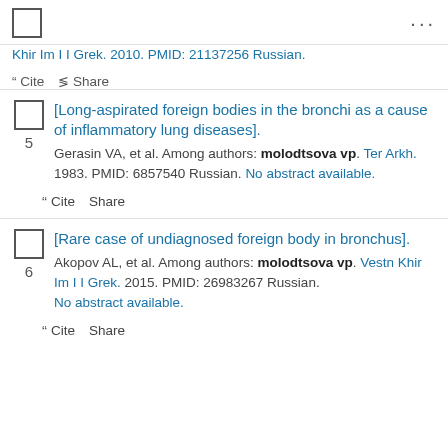checkbox and ellipsis menu
Khir Im I I Grek. 2010. PMID: 21137256 Russian.
Cite  Share
[Long-aspirated foreign bodies in the bronchi as a cause of inflammatory lung diseases].
Gerasin VA, et al. Among authors: molodtsova vp. Ter Arkh. 1983. PMID: 6857540 Russian. No abstract available.
Cite  Share
[Rare case of undiagnosed foreign body in bronchus].
Akopov AL, et al. Among authors: molodtsova vp. Vestn Khir Im I I Grek. 2015. PMID: 26983267 Russian. No abstract available.
Cite  Share